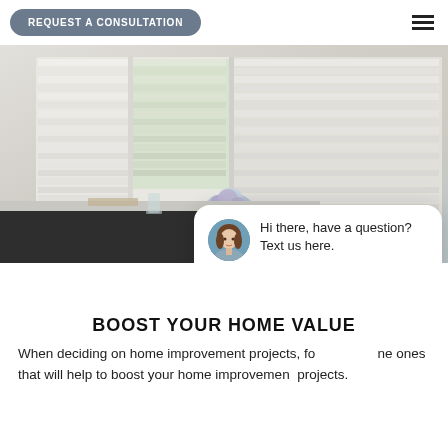REQUEST A CONSULTATION
[Figure (screenshot): Screenshot of a website showing window blinds/shades in a bright kitchen interior, with a chat popup overlay saying 'Hi there, have a question? Text us here.' and a 'close' button, plus a blue chat icon button.]
BOOST YOUR HOME VALUE
When deciding on home improvement projects, focus on the ones that will help to boost your home improvement projects.